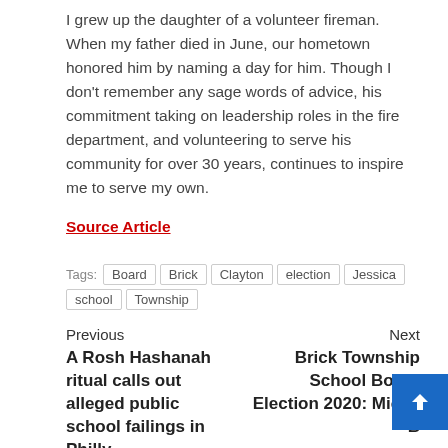I grew up the daughter of a volunteer fireman. When my father died in June, our hometown honored him by naming a day for him. Though I don't remember any sage words of advice, his commitment taking on leadership roles in the fire department, and volunteering to serve his community for over 30 years, continues to inspire me to serve my own.
Source Article
Tags: Board  Brick  Clayton  election  Jessica  school  Township
Previous
A Rosh Hashanah ritual calls out alleged public school failings in Philly
Next
Brick Township School Board Election 2020: Micah B